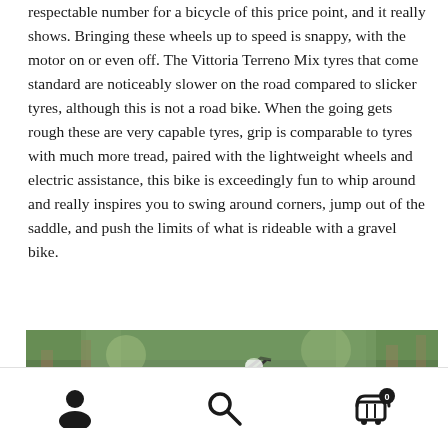respectable number for a bicycle of this price point, and it really shows. Bringing these wheels up to speed is snappy, with the motor on or even off. The Vittoria Terreno Mix tyres that come standard are noticeably slower on the road compared to slicker tyres, although this is not a road bike. When the going gets rough these are very capable tyres, grip is comparable to tyres with much more tread, paired with the lightweight wheels and electric assistance, this bike is exceedingly fun to whip around and really inspires you to swing around corners, jump out of the saddle, and push the limits of what is rideable with a gravel bike.
[Figure (photo): A cyclist riding a gravel/electric bike on a trail through trees, viewed from above/behind, wearing cycling kit]
Navigation bar with user icon, search icon, and shopping cart icon (showing 0 items)